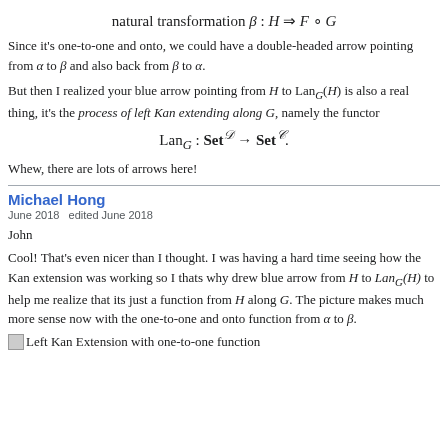Since it's one-to-one and onto, we could have a double-headed arrow pointing from α to β and also back from β to α.
But then I realized your blue arrow pointing from H to Lan_G(H) is also a real thing, it's the process of left Kan extending along G, namely the functor
Whew, there are lots of arrows here!
Michael Hong
June 2018   edited June 2018
John
Cool! That's even nicer than I thought. I was having a hard time seeing how the Kan extension was working so I thats why drew blue arrow from H to Lan_G(H) to help me realize that its just a function from H along G. The picture makes much more sense now with the one-to-one and onto function from α to β.
[Figure (other): Left Kan Extension with one-to-one function image placeholder]